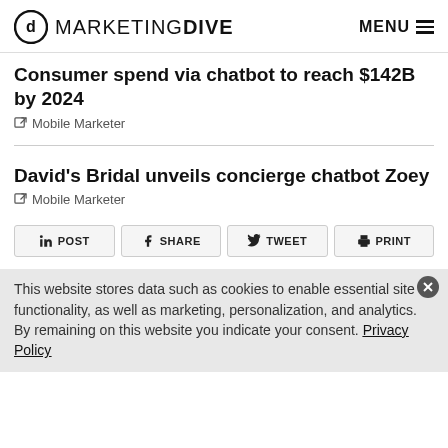Marketing Dive — MENU
Consumer spend via chatbot to reach $142B by 2024
Mobile Marketer
David's Bridal unveils concierge chatbot Zoey
Mobile Marketer
POST   SHARE   TWEET   PRINT
This website stores data such as cookies to enable essential site functionality, as well as marketing, personalization, and analytics. By remaining on this website you indicate your consent. Privacy Policy